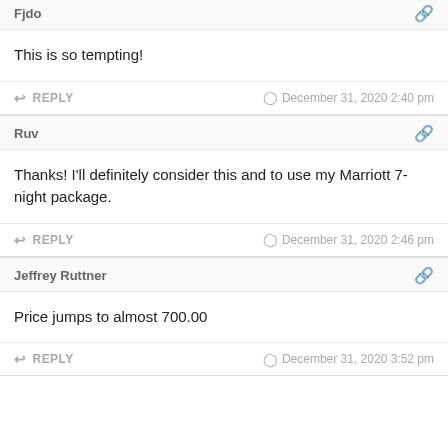Fjdo
This is so tempting!
REPLY  December 31, 2020 2:40 pm
Ruv
Thanks! I'll definitely consider this and to use my Marriott 7-night package.
REPLY  December 31, 2020 2:46 pm
Jeffrey Ruttner
Price jumps to almost 700.00
REPLY  December 31, 2020 3:52 pm